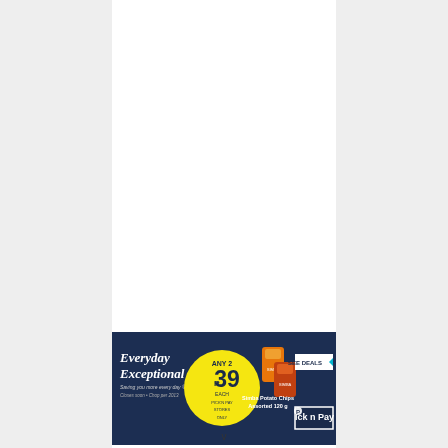[Figure (infographic): Pick n Pay advertisement banner with dark navy blue background. Features 'Everyday Exceptional - Saving you more every day' tagline on the left, a yellow circular badge showing 'ANY 2 R39' deal, product images of Simba Potato Chips Assorted 120g bags in the center, product name text, a 'SEE DEALS' button with teal arrow on the right, and Pick n Pay logo in white text at the bottom right.]
v